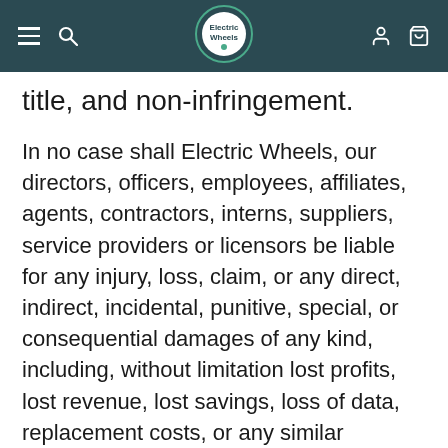Electric Wheels navigation bar
title, and non-infringement.
In no case shall Electric Wheels, our directors, officers, employees, affiliates, agents, contractors, interns, suppliers, service providers or licensors be liable for any injury, loss, claim, or any direct, indirect, incidental, punitive, special, or consequential damages of any kind, including, without limitation lost profits, lost revenue, lost savings, loss of data, replacement costs, or any similar damages, whether based in contract, tort (including negligence), strict liability or otherwise, arising from your use of any of the service or any products procured using the service, or for any other claims related to your use or any of the